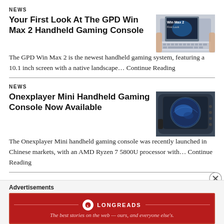NEWS
Your First Look At The GPD Win Max 2 Handheld Gaming Console
[Figure (photo): Photo of GPD Win Max 2 handheld gaming console, held in hands, showing keyboard and screen with game]
The GPD Win Max 2 is the newest handheld gaming system, featuring a 10.1 inch screen with a native landscape… Continue Reading
NEWS
Onexplayer Mini Handheld Gaming Console Now Available
[Figure (photo): Photo of Onexplayer Mini handheld gaming console showing screen with earth/planet graphic]
The Onexplayer Mini handheld gaming console was recently launched in Chinese markets, with an AMD Ryzen 7 5800U processor with… Continue Reading
Advertisements
[Figure (other): Longreads advertisement banner: red background with logo and tagline 'The best stories on the web — ours, and everyone else's.']